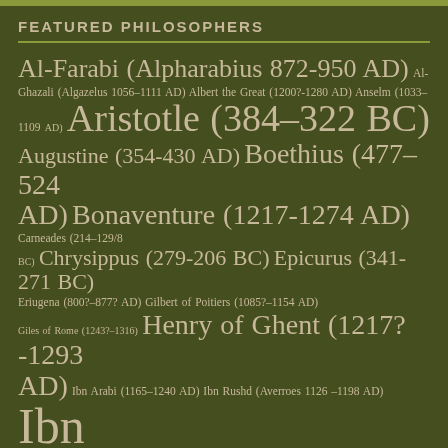FEATURED PHILOSOPHERS
Al-Farabi (Alpharabius 872-950 AD) Al-Ghazali (Algazelus 1056–1111 AD) Albert the Great (1200?-1280 AD) Anselm (1033–1109 AD) Aristotle (384–322 BC) Augustine (354-430 AD) Boethius (477–524 AD) Bonaventure (1217-1274 AD) Carneades (214–129/8 BC) Chrysippus (279-206 BC) Epicurus (341-271 BC) Eriugena (800?–877? AD) Gilbert of Poitiers (1085?–1154 AD) Giles of Rome (1243?–1316) Henry of Ghent (1217?-1293 AD) Ibn Arabi (1165–1240 AD) Ibn Rushd (Averroes 1126 –1198 AD) Ibn Sina (Avicenna 980-1037 AD) John Buridan (1301-1358 AD) John Duns Scotus (1265/66–1308 AD)